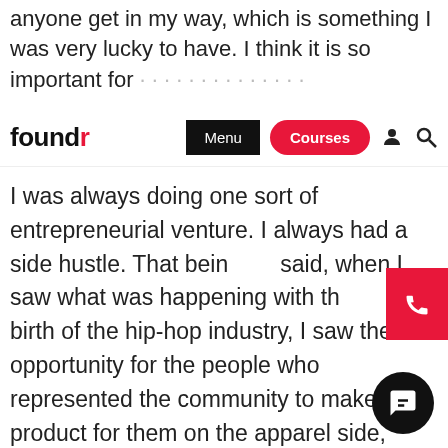anyone get in my way, which is something I was very lucky to have. I think it is so important for
foundr | Menu | Courses
I was always doing one sort of entrepreneurial venture. I always had a side hustle. That being said, when I saw what was happening with the birth of the hip-hop industry, I saw the opportunity for the people who represented the community to make a product for them on the apparel side, and I jumped in head first.